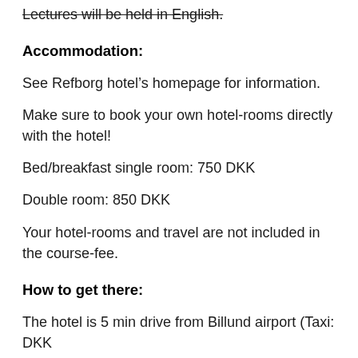Lectures will be held in English.
Accommodation:
See Refborg hotel's homepage for information.
Make sure to book your own hotel-rooms directly with the hotel!
Bed/breakfast single room: 750 DKK
Double room: 850 DKK
Your hotel-rooms and travel are not included in the course-fee.
How to get there:
The hotel is 5 min drive from Billund airport (Taxi: DKK